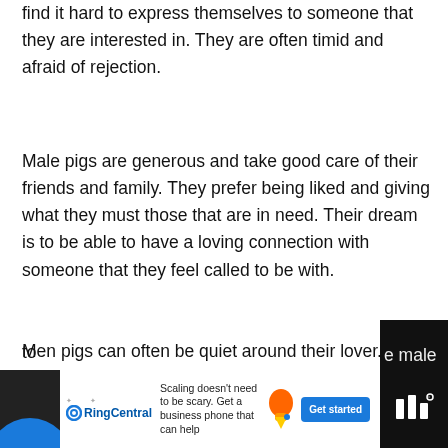find it hard to express themselves to someone that they are interested in.  They are often timid and afraid of rejection.
Male pigs are generous and take good care of their friends and family.  They prefer being liked and giving what they must those that are in need.  Their dream is to be able to have a loving connection with someone that they feel called to be with.
Men pigs can often be quiet around their lover.  Sometimes, their romantic partner can feel rejected or like they are not interested in them.  They may feel as though they are not meant to be to[gether. The male pig...]